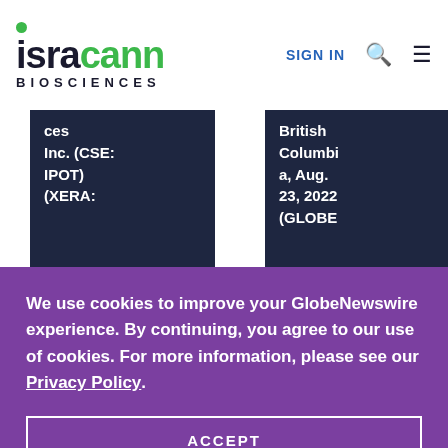isracann BIOSCIENCES | SIGN IN
ces Inc. (CSE: IPOT) (XERA:
British Columbia, Aug. 23, 2022 (GLOBE
We use cookies to improve your GlobeNewswire experience. By continuing, you agree to our use of cookies. For more information, please see our Privacy Policy.
ACCEPT